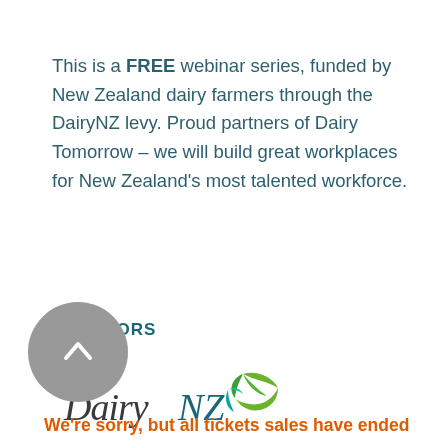This is a FREE webinar series, funded by New Zealand dairy farmers through the DairyNZ levy. Proud partners of Dairy Tomorrow – we will build great workplaces for New Zealand's most talented workforce.
SPONSORS
[Figure (logo): DairyNZ logo with green swoosh/leaf graphic and dark italic text]
We're sorry, but all tickets sales have ended